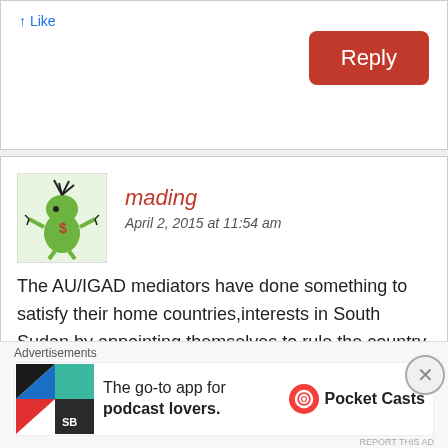Reply
mading
April 2, 2015 at 11:54 am
The AU/IGAD mediators have done something to satisfy their home countries,interests in South Sudan by appointing themselves to rule the country instead of intervention by removing both killers kiir and riek only and appointing someone whose hands are not tainted with
[Figure (illustration): Green cartoon avatar character with spiky hair]
Advertisements
[Figure (illustration): Pocket Casts app advertisement banner showing colorful app icon and text: The go-to app for podcast lovers.]